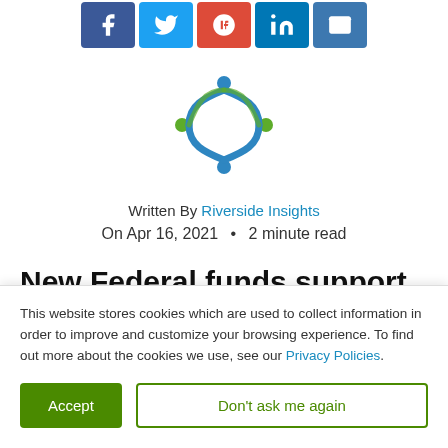[Figure (other): Social sharing icons: Facebook (blue), Twitter (light blue), Google+ (red), LinkedIn (dark blue), Email (blue)]
[Figure (logo): Riverside Insights logo: colorful X-shape figure with blue and green people icons]
Written By Riverside Insights
On Apr 16, 2021  •  2 minute read
New Federal funds support Head Start programs' ongoing
This website stores cookies which are used to collect information in order to improve and customize your browsing experience. To find out more about the cookies we use, see our Privacy Policies.